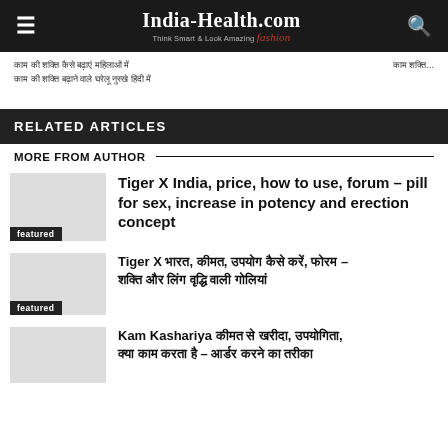India-Health.com — Think Smart & Look Amazing
[Hindi text — breadcrumb/navigation]
RELATED ARTICLES
MORE FROM AUTHOR
Tiger X India, price, how to use, forum – pill for sex, increase in potency and erection concept
Tiger X [Hindi text] – [Hindi text]
Kam Kashariya [Hindi text] – [Hindi text]